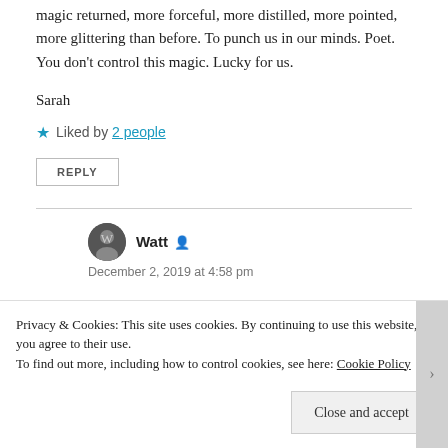magic returned, more forceful, more distilled, more pointed, more glittering than before. To punch us in our minds. Poet. You don't control this magic. Lucky for us.
Sarah
★ Liked by 2 people
REPLY
Watt
December 2, 2019 at 4:58 pm
Privacy & Cookies: This site uses cookies. By continuing to use this website, you agree to their use. To find out more, including how to control cookies, see here: Cookie Policy
Close and accept